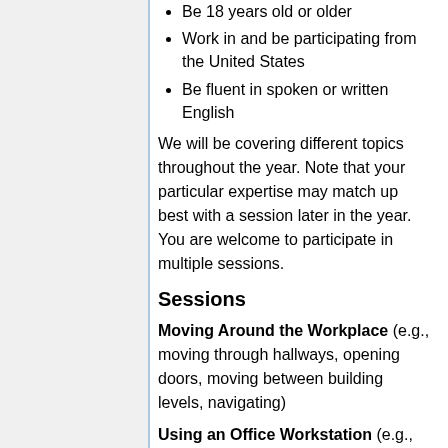Be 18 years old or older
Work in and be participating from the United States
Be fluent in spoken or written English
We will be covering different topics throughout the year. Note that your particular expertise may match up best with a session later in the year. You are welcome to participate in multiple sessions.
Sessions
Moving Around the Workplace (e.g., moving through hallways, opening doors, moving between building levels, navigating)
Using an Office Workstation (e.g., sitting at a desk, the ergonomics of accessing a work surface and materials)